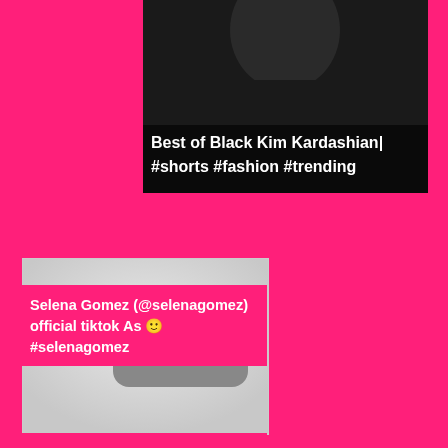[Figure (screenshot): Top portion of a video thumbnail showing a person (Kim Kardashian) with dark hair against dark background, with white text overlay reading 'Best of Black Kim Kardashian| #shorts #fashion #trending']
Best of Black Kim Kardashian| #shorts #fashion #trending
[Figure (screenshot): Video thumbnail placeholder with light gray background and a dark gray rounded rectangle with three white dots (loading/unavailable icon)]
Selena Gomez (@selenagomez) official tiktok As 🙂 #selenagomez